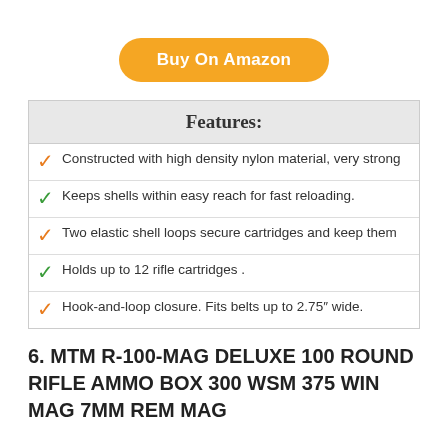[Figure (other): Orange rounded button labeled 'Buy On Amazon']
Features:
Constructed with high density nylon material, very strong
Keeps shells within easy reach for fast reloading.
Two elastic shell loops secure cartridges and keep them
Holds up to 12 rifle cartridges .
Hook-and-loop closure. Fits belts up to 2.75″ wide.
6. MTM R-100-MAG DELUXE 100 ROUND RIFLE AMMO BOX 300 WSM 375 WIN MAG 7MM REM MAG